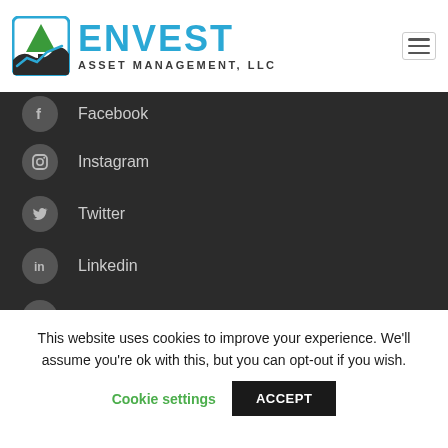[Figure (logo): Envest Asset Management, LLC logo with tree icon and blue text]
Facebook
Instagram
Twitter
Linkedin
YouTube
This website uses cookies to improve your experience. We'll assume you're ok with this, but you can opt-out if you wish.
Cookie settings
ACCEPT